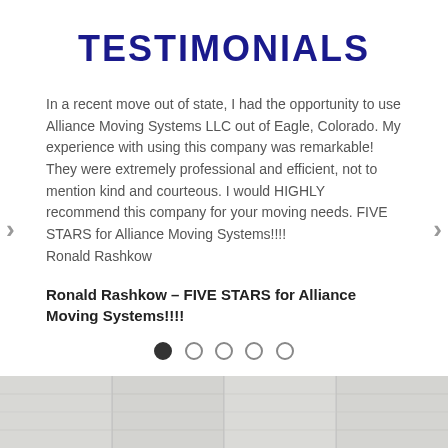TESTIMONIALS
In a recent move out of state, I had the opportunity to use Alliance Moving Systems LLC out of Eagle, Colorado. My experience with using this company was remarkable! They were extremely professional and efficient, not to mention kind and courteous. I would HIGHLY recommend this company for your moving needs. FIVE STARS for Alliance Moving Systems!!!!
Ronald Rashkow
Ronald Rashkow – FIVE STARS for Alliance Moving Systems!!!!
[Figure (other): Carousel pagination dots: 5 dots, first filled/active, rest empty circles]
[Figure (photo): Wood plank texture footer image in light grey/white tones]